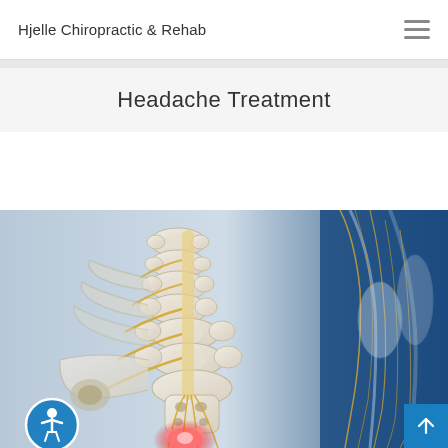Hjelle Chiropractic & Rehab
Headache Treatment
[Figure (illustration): 3D medical illustration of the human spine and nervous system, showing vertebrae, spinal cord, and nerve roots with a highlighted area of inflammation or injury near the lower spine/sacral region. Blue gradient background with visible nerve pathways in yellow/gold color.]